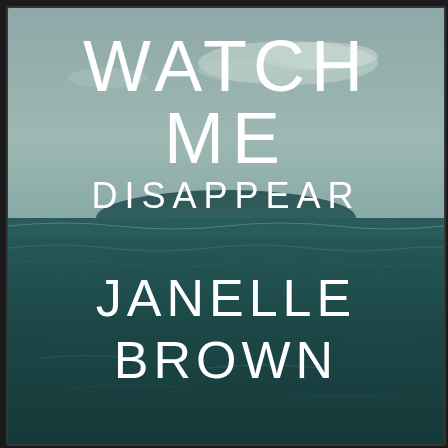[Figure (illustration): Book cover for 'Watch Me Disappear' by Janelle Brown. Background shows a seascape/ocean scene with a muted teal-grey sky with soft clouds in the upper portion, transitioning to dark teal-green ocean waves in the lower portion. White sans-serif text overlays the image with the title 'WATCH ME DISAPPEAR' and author name 'JANELLE BROWN'.]